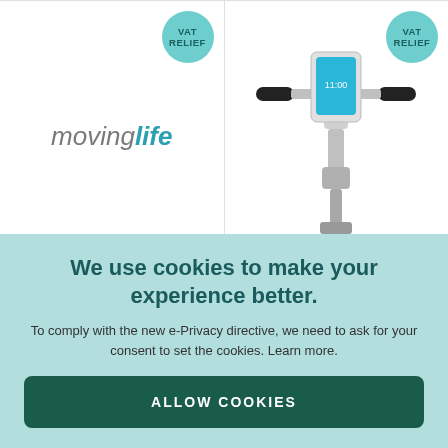[Figure (logo): Moving Life brand logo in grey italic text with 'life' in teal bold italic]
VAT RELIEF
[Figure (photo): ATTO scooter handlebar with phone holder and phone mounted, silver/chrome handlebar assembly]
VAT RELIEF
ATTO scooter Replacement Throttle -
ATTO Scooter Mobile Phone Holder
We use cookies to make your experience better.
To comply with the new e-Privacy directive, we need to ask for your consent to set the cookies. Learn more.
ALLOW COOKIES